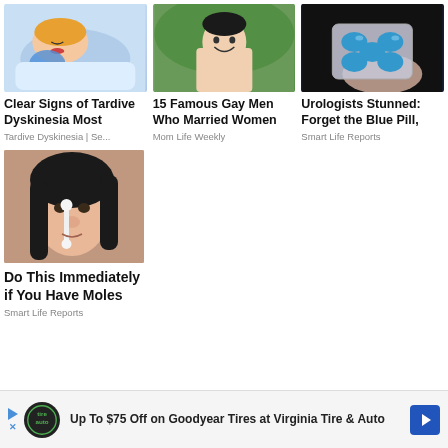[Figure (photo): Cartoon illustration of a sleeping woman with something near her mouth]
Clear Signs of Tardive Dyskinesia Most
Tardive Dyskinesia | Se...
[Figure (photo): Shirtless man smiling outdoors]
15 Famous Gay Men Who Married Women
Mom Life Weekly
[Figure (photo): Hand holding blister pack of blue pills]
Urologists Stunned: Forget the Blue Pill,
Smart Life Reports
[Figure (photo): Woman applying something to her nose with a cotton swab]
Do This Immediately if You Have Moles
Smart Life Reports
Up To $75 Off on Goodyear Tires at Virginia Tire & Auto